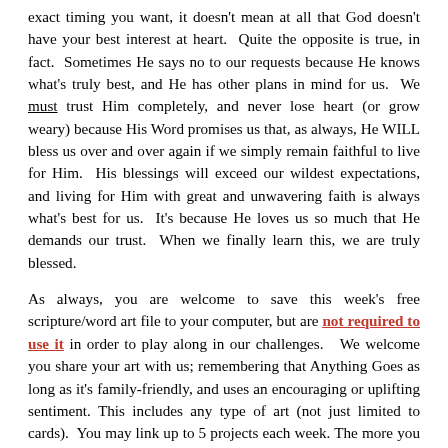exact timing you want, it doesn't mean at all that God doesn't have your best interest at heart.  Quite the opposite is true, in fact.  Sometimes He says no to our requests because He knows what's truly best, and He has other plans in mind for us.  We must trust Him completely, and never lose heart (or grow weary) because His Word promises us that, as always, He WILL bless us over and over again if we simply remain faithful to live for Him.  His blessings will exceed our wildest expectations, and living for Him with great and unwavering faith is always what's best for us.  It's because He loves us so much that He demands our trust.  When we finally learn this, we are truly blessed.
As always, you are welcome to save this week's free scripture/word art file to your computer, but are not required to use it in order to play along in our challenges.   We welcome you share your art with us; remembering that Anything Goes as long as it's family-friendly, and uses an encouraging or uplifting sentiment. This includes any type of art (not just limited to cards).  You may link up to 5 projects each week. The more you enter, the more you increase your odds of winning.  It is our desire that God's Word will be a blessing and encouragement to you each week. If you have any questions about the rules, be sure to read the complete list of rules under our page